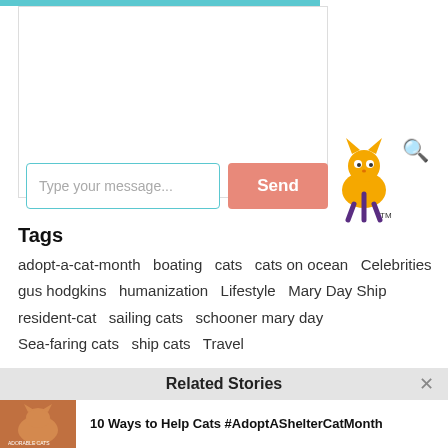[Figure (screenshot): Chat interface top bar in teal/cyan color]
[Figure (logo): Animal-themed logo with yellow creature and TM mark, purple text]
[Figure (screenshot): Message input box with placeholder 'Type your message...' and salmon-colored Send button]
Tags
adopt-a-cat-month   boating   cats   cats on ocean   Celebrities   gus hodgkins   humanization   Lifestyle   Mary Day Ship   resident-cat   sailing cats   schooner mary day   Sea-faring cats   ship cats   Travel
Related Stories
[Figure (photo): Thumbnail image of an orange/ginger cat on a book cover about cats]
10 Ways to Help Cats #AdoptAShelterCatMonth